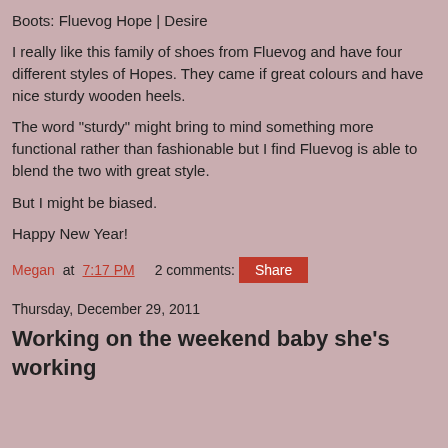Boots: Fluevog Hope | Desire
I really like this family of shoes from Fluevog and have four different styles of Hopes. They came if great colours and have nice sturdy wooden heels.
The word "sturdy" might bring to mind something more functional rather than fashionable but I find Fluevog is able to blend the two with great style.
But I might be biased.
Happy New Year!
Megan at 7:17 PM    2 comments:
Share
Thursday, December 29, 2011
Working on the weekend baby she's working